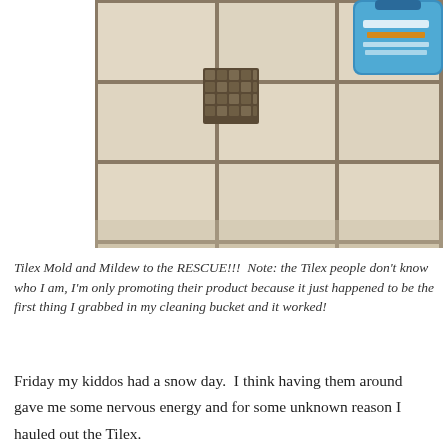[Figure (photo): Close-up photo of bathroom or kitchen tile floor with dirty/moldy grout lines in a crosshatch pattern. A container of Tilex Mold and Mildew cleaner is visible in the upper right corner. The grout around the tiles appears discolored and stained.]
Tilex Mold and Mildew to the RESCUE!!!  Note: the Tilex people don’t know who I am, I’m only promoting their product because it just happened to be the first thing I grabbed in my cleaning bucket and it worked!
Friday my kiddos had a snow day.  I think having them around gave me some nervous energy and for some unknown reason I hauled out the Tilex.